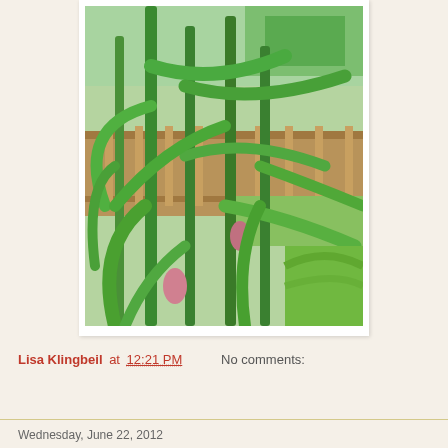[Figure (photo): Photograph of a garden with tall corn plants and other green leafy plants, with a wooden fence and trees visible in the background on a sunny day.]
Lisa Klingbeil at 12:21 PM    No comments:
Share
Wednesday, June 22, 2012